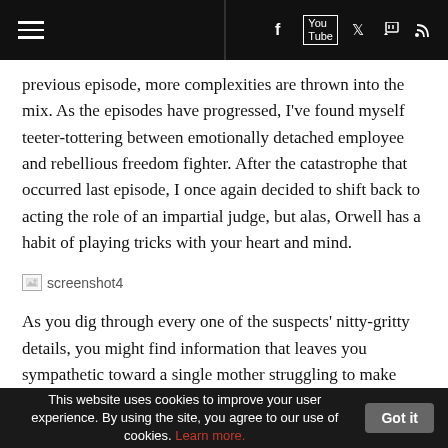Navigation bar with menu icon and social media icons (Facebook, YouTube, Twitter, Twitch, RSS)
previous episode, more complexities are thrown into the mix. As the episodes have progressed, I've found myself teeter-tottering between emotionally detached employee and rebellious freedom fighter. After the catastrophe that occurred last episode, I once again decided to shift back to acting the role of an impartial judge, but alas, Orwell has a habit of playing tricks with your heart and mind.
[Figure (screenshot): Broken image placeholder labeled 'screenshot4']
As you dig through every one of the suspects' nitty-gritty details, you might find information that leaves you sympathetic toward a single mother struggling to make ends meet. Five minutes later you might discover incriminating
This website uses cookies to improve your user experience. By using the site, you agree to our use of cookies. Learn more. Got it